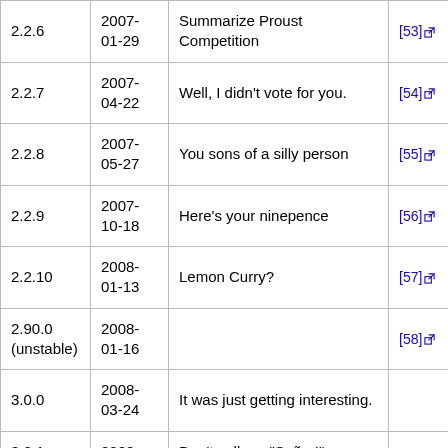| Version | Date | Description | Ref |
| --- | --- | --- | --- |
| 2.2.6 | 2007-01-29 | Summarize Proust Competition | [53] |
| 2.2.7 | 2007-04-22 | Well, I didn't vote for you. | [54] |
| 2.2.8 | 2007-05-27 | You sons of a silly person | [55] |
| 2.2.9 | 2007-10-18 | Here's your ninepence | [56] |
| 2.2.10 | 2008-01-13 | Lemon Curry? | [57] |
| 2.90.0 (unstable) | 2008-01-16 |  | [58] |
| 3.0.0 | 2008-03-24 | It was just getting interesting. |  |
| 3.0.1 | 2008- | Don't call me "Señor!" |  |